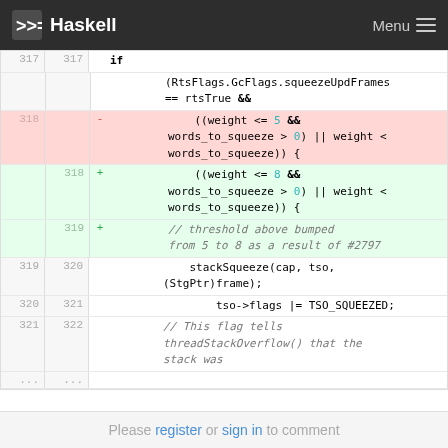Haskell  Menu
[Figure (screenshot): Code diff view showing Haskell/C source code diff. Lines 317-322 with removed line 318 (weight <= 5) and added lines 318-319 (weight <= 8 with comment about threshold bumped from 5 to 8 due to #2797). Lines 319-321 show stackSqueeze, tso->flags, and comment.]
Please register or sign in to comment